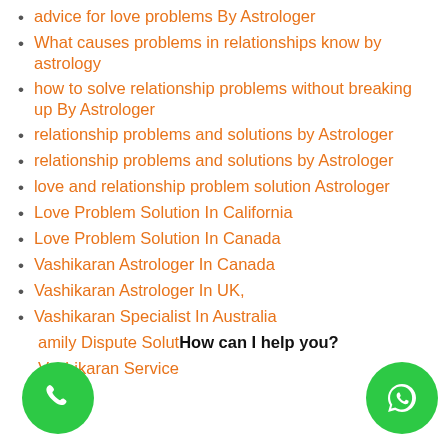advice for love problems By Astrologer
What causes problems in relationships know by astrology
how to solve relationship problems without breaking up By Astrologer
relationship problems and solutions by Astrologer
relationship problems and solutions by Astrologer
love and relationship problem solution Astrologer
Love Problem Solution In California
Love Problem Solution In Canada
Vashikaran Astrologer In Canada
Vashikaran Astrologer In UK,
Vashikaran Specialist In Australia
Family Dispute Solution
Vashikaran Service
How can I help you?